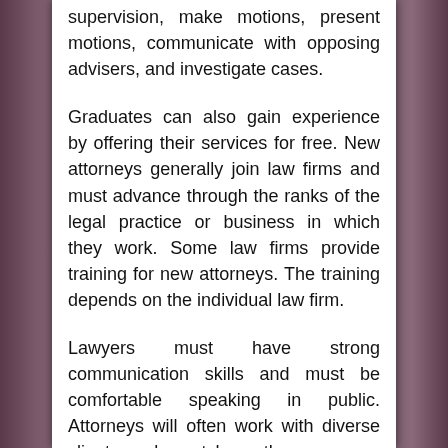supervision, make motions, present motions, communicate with opposing advisers, and investigate cases.
Graduates can also gain experience by offering their services for free. New attorneys generally join law firms and must advance through the ranks of the legal practice or business in which they work. Some law firms provide training for new attorneys. The training depends on the individual law firm.
Lawyers must have strong communication skills and must be comfortable speaking in public. Attorneys will often work with diverse clients and must have the necessary patience and empathy when working with clients who may be in stressful situations. If you want to know more about our services, you can immediately visit